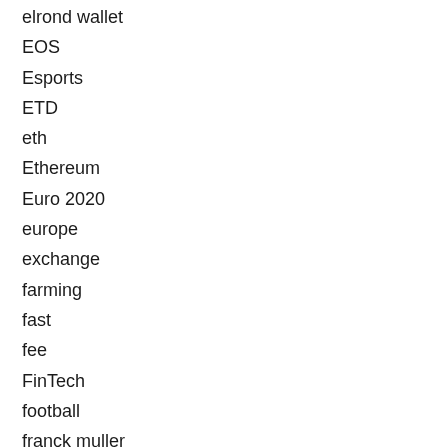elrond wallet
EOS
Esports
ETD
eth
Ethereum
Euro 2020
europe
exchange
farming
fast
fee
FinTech
football
franck muller
Frank Frazetta
Funding Round